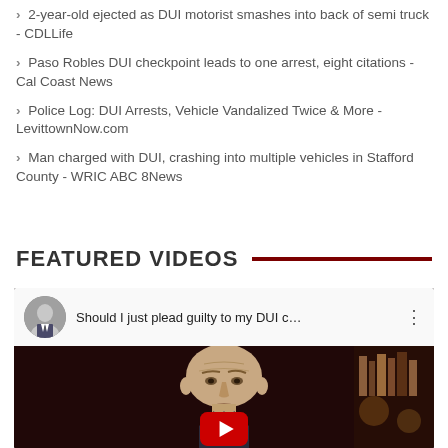2-year-old ejected as DUI motorist smashes into back of semi truck - CDLLife
Paso Robles DUI checkpoint leads to one arrest, eight citations - Cal Coast News
Police Log: DUI Arrests, Vehicle Vandalized Twice & More - LevittownNow.com
Man charged with DUI, crashing into multiple vehicles in Stafford County - WRIC ABC 8News
FEATURED VIDEOS
[Figure (screenshot): YouTube video thumbnail showing a man in a suit with text 'Should I just plead guilty to my DUI c...' and a play button overlay]